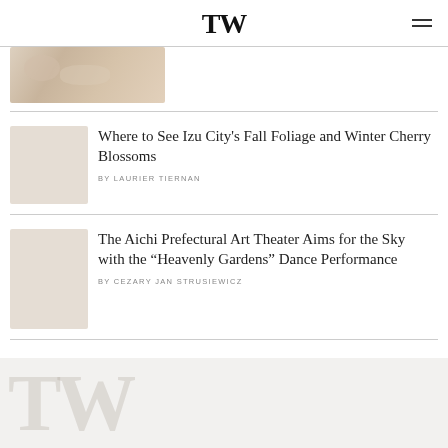TW
[Figure (photo): Partial image of a close-up photo, light beige/cream tones]
Where to See Izu City's Fall Foliage and Winter Cherry Blossoms
BY LAURIER TIERNAN
The Aichi Prefectural Art Theater Aims for the Sky with the “Heavenly Gardens” Dance Performance
BY CEZARY JAN STRUSIEWICZ
[Figure (logo): TW watermark logo in light grey at bottom of page]